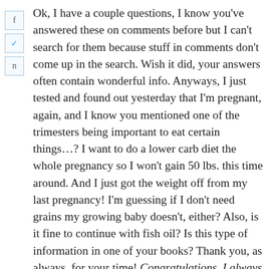Ok, I have a couple questions, I know you've answered these on comments before but I can't search for them because stuff in comments don't come up in the search. Wish it did, your answers often contain wonderful info. Anyways, I just tested and found out yesterday that I'm pregnant, again, and I know you mentioned one of the trimesters being important to eat certain things…? I want to do a lower carb diet the whole pregnancy so I won't gain 50 lbs. this time around. And I just got the weight off from my last pregnancy! I'm guessing if I don't need grains my growing baby doesn't, either? Also, is it fine to continue with fish oil? Is this type of information in one of your books? Thank you, as always, for your time! Congratulations. I always love to see little new low-carbers coming into the world. As to what to